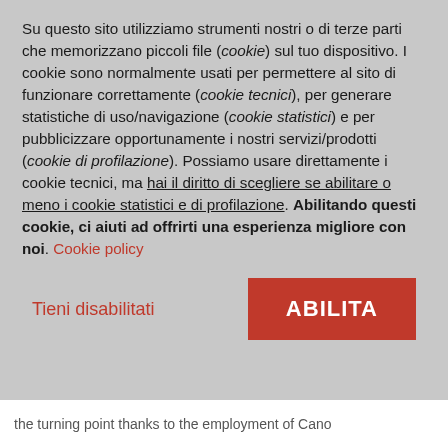Su questo sito utilizziamo strumenti nostri o di terze parti che memorizzano piccoli file (cookie) sul tuo dispositivo. I cookie sono normalmente usati per permettere al sito di funzionare correttamente (cookie tecnici), per generare statistiche di uso/navigazione (cookie statistici) e per pubblicizzare opportunamente i nostri servizi/prodotti (cookie di profilazione). Possiamo usare direttamente i cookie tecnici, ma hai il diritto di scegliere se abilitare o meno i cookie statistici e di profilazione. Abilitando questi cookie, ci aiuti ad offrirti una esperienza migliore con noi. Cookie policy
Tieni disabilitati
ABILITA
the turning point thanks to the employment of Cano